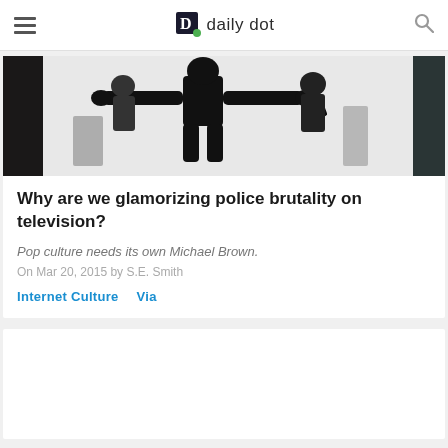daily dot
[Figure (photo): Black and white graphic art image showing bold stylized figures, resembling street art or Keith Haring-style illustration with black silhouettes on white background]
Why are we glamorizing police brutality on television?
Pop culture needs its own Michael Brown.
On Mar 20, 2015 by S.E. Smith
Internet Culture   Via